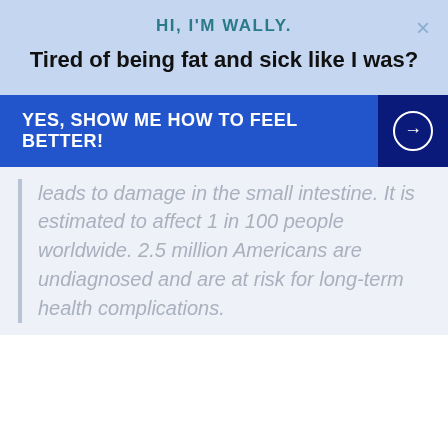HI, I'M WALLY.
Tired of being fat and sick like I was?
YES, SHOW ME HOW TO FEEL BETTER!
leads to damage in the small intestine. It is estimated to affect 1 in 100 people worldwide. 2.5 million Americans are undiagnosed and are at risk for long-term health complications.